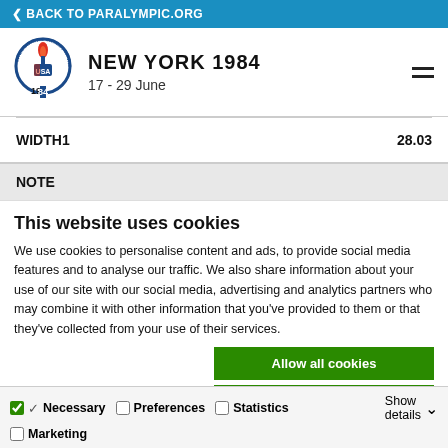< BACK TO PARALYMPIC.ORG
[Figure (logo): New York 1984 Paralympic Games logo — circular emblem with USA text and torch, 1984 date below]
NEW YORK 1984
17 - 29 June
| Field | Value |
| --- | --- |
| WIDTH1 | 28.03 |
NOTE
This website uses cookies
We use cookies to personalise content and ads, to provide social media features and to analyse our traffic. We also share information about your use of our site with our social media, advertising and analytics partners who may combine it with other information that you've provided to them or that they've collected from your use of their services.
Allow all cookies
Allow selection
Use necessary cookies only
Necessary  Preferences  Statistics  Marketing  Show details